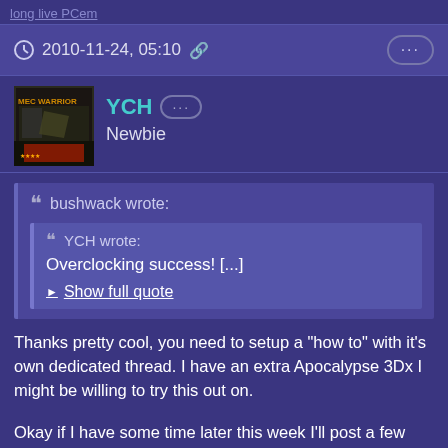long live PCem
2010-11-24, 05:10
YCH Newbie
bushwack wrote:
YCH wrote:
Overclocking success! [...]
Show full quote
Thanks pretty cool, you need to setup a "how to" with it's own dedicated thread. I have an extra Apocalypse 3Dx I might be willing to try this out on.
Okay if I have some time later this week I'll post a few photos and description. Credit goes to this site though for